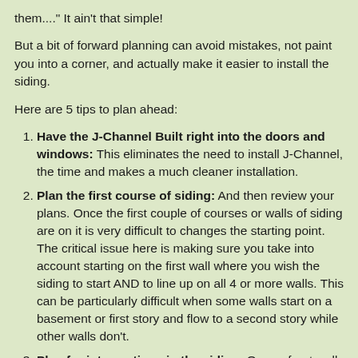them...." It ain't that simple!
But a bit of forward planning can avoid mistakes, not paint you into a corner, and actually make it easier to install the siding.
Here are 5 tips to plan ahead:
Have the J-Channel Built right into the doors and windows: This eliminates the need to install J-Channel, the time and makes a much cleaner installation.
Plan the first course of siding: And then review your plans. Once the first couple of courses or walls of siding are on it is very difficult to changes the starting point. The critical issue here is making sure you take into account starting on the first wall where you wish the siding to start AND to line up on all 4 or more walls. This can be particularly difficult when some walls start on a basement or first story and flow to a second story while other walls don't.
Plan for interruptions in the siding: On our front wall